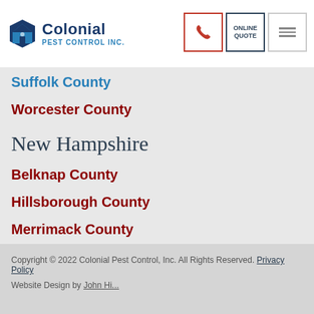[Figure (logo): Colonial Pest Control Inc. logo with blue hexagon house icon and company name]
Suffolk County (partial, cut off)
Worcester County
New Hampshire
Belknap County
Hillsborough County
Merrimack County
Rockingham County
Strafford County
Copyright © 2022 Colonial Pest Control, Inc. All Rights Reserved. Privacy Policy